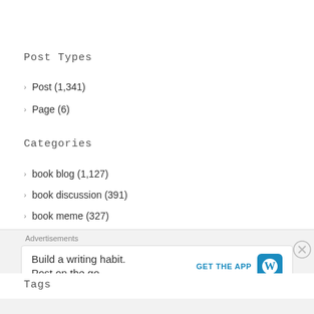Post Types
> Post (1,341)
> Page (6)
Categories
> book blog (1,127)
> book discussion (391)
> book meme (327)
> Book Tag (214)
> book list (208)
Tags
> book blog (845)
Advertisements
Build a writing habit. Post on the go. GET THE APP